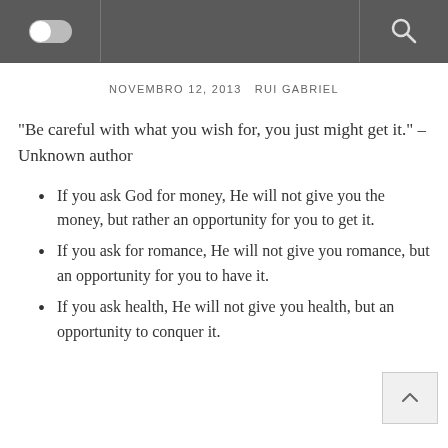[Figure (screenshot): Navigation bar with toggle switch on the left and search icon on the right]
NOVEMBRO 12, 2013   RUI GABRIEL
“Be careful with what you wish for, you just might get it.” – Unknown author
If you ask God for money, He will not give you the money, but rather an opportunity for you to get it.
If you ask for romance, He will not give you romance, but an opportunity for you to have it.
If you ask health, He will not give you health, but an opportunity to conquer it.